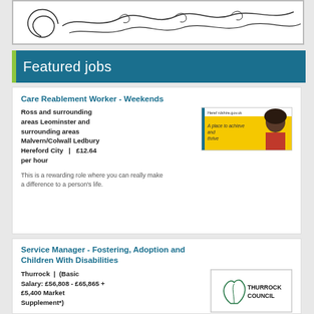[Figure (illustration): Decorative line drawing illustration with swirls and organic shapes, black on white background]
Featured jobs
Care Reablement Worker - Weekends
Ross and surrounding areas Leominster and surrounding areas Malvern/Colwall Ledbury Hereford City | £12.64 per hour
[Figure (photo): Herefordshire.gov.uk banner image showing a person with text 'A place to achieve and thrive']
This is a rewarding role where you can really make a difference to a person's life.
Service Manager - Fostering, Adoption and Children With Disabilities
Thurrock | (Basic Salary: £56,808 - £65,865 + £5,400 Market Supplement*)
[Figure (logo): Thurrock Council logo with leaf/flame icon and text THURROCK COUNCIL]
An exciting opportunity has become available for a full-time leadership role as Service Manager